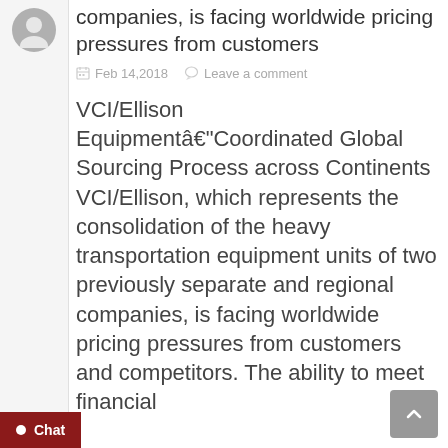companies, is facing worldwide pricing pressures from customers
Feb 14,2018   Leave a comment
VCI/Ellison Equipmentâ€“Coordinated Global Sourcing Process across Continents VCI/Ellison, which represents the consolidation of the heavy transportation equipment units of two previously separate and regional companies, is facing worldwide pricing pressures from customers and competitors. The ability to meet financial